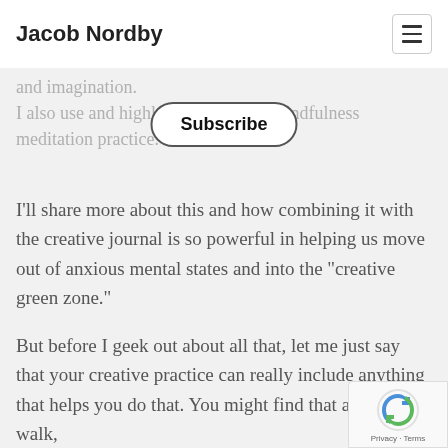Jacob Nordby
and imagination.
I also use and highly recommend a mindfulness meditation practice.
I'll share more about this and how combining it with the creative journal is so powerful in helping us move out of anxious mental states and into the “creative green zone.”
But before I geek out about all that, let me just say that your creative practice can really include anything that helps you do that. You might find that a mindful walk,